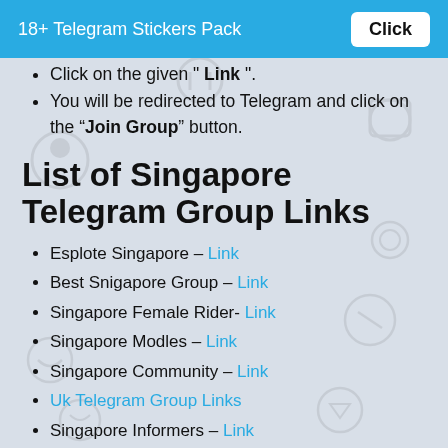18+ Telegram Stickers Pack   Click
Click on the given " Link ".
You will be redirected to Telegram and click on the “Join Group” button.
List of Singapore Telegram Group Links
Esplote Singapore – Link
Best Snigapore Group – Link
Singapore Female Rider- Link
Singapore Modles – Link
Singapore Community – Link
Uk Telegram Group Links
Singapore Informers – Link